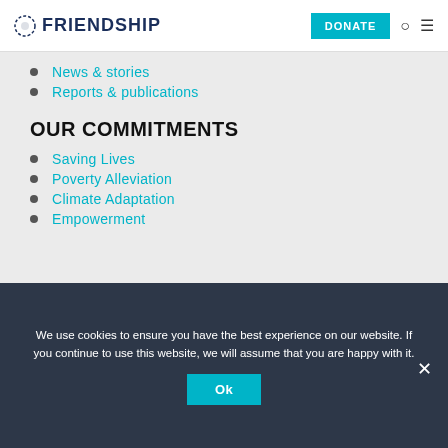FRIENDSHIP — DONATE
News & stories
Reports & publications
OUR COMMITMENTS
Saving Lives
Poverty Alleviation
Climate Adaptation
Empowerment
We use cookies to ensure you have the best experience on our website. If you continue to use this website, we will assume that you are happy with it.